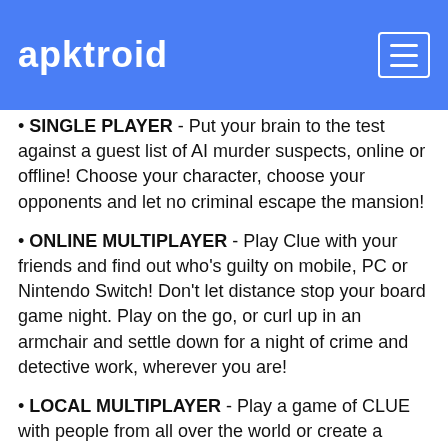apktroid
SINGLE PLAYER - Put your brain to the test against a guest list of AI murder suspects, online or offline! Choose your character, choose your opponents and let no criminal escape the mansion!
ONLINE MULTIPLAYER - Play Clue with your friends and find out who’s guilty on mobile, PC or Nintendo Switch! Don’t let distance stop your board game night. Play on the go, or curl up in an armchair and settle down for a night of crime and detective work, wherever you are!
LOCAL MULTIPLAYER - Play a game of CLUE with people from all over the world or create a private multiplayer game to play with your friends and family.
10 ADDITIONAL THEMES - Explore ten different themed boards with the Clue Season Pass. Listed under “Editor’s